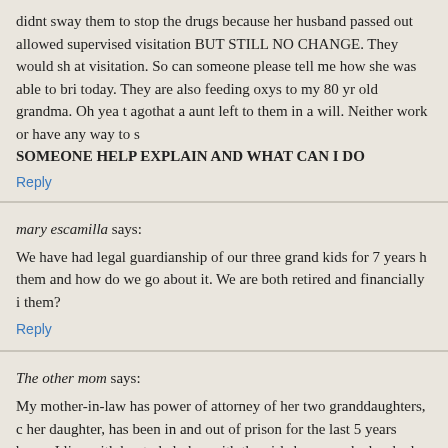didnt sway them to stop the drugs because her husband passed out allowed supervised visitation BUT STILL NO CHANGE. They would sh at visitation. So can someone please tell me how she was able to bri today. They are also feeding oxys to my 80 yr old grandma. Oh yea t agothat a aunt left to them in a will. Neither work or have any way to s SOMEONE HELP EXPLAIN AND WHAT CAN I DO
Reply
mary escamilla says:
We have have had legal guardianship of our three grand kids for 7 years h them and how do we go about it. We are both retired and financially i them?
Reply
The other mom says:
My mother-in-law has power of attorney of her two granddaughters, c her daughter, has been in and out of prison for the last 5 years becau I live with her to help her with the girls because she has had them sir passed away in 2013. The girls consider us their parents but are awa have seen her on occasion but only once in a while, during the short have had them for such a long time, is there a way to adopt them? Pr to their mother about adopting the girls because he was a Vietnam ve